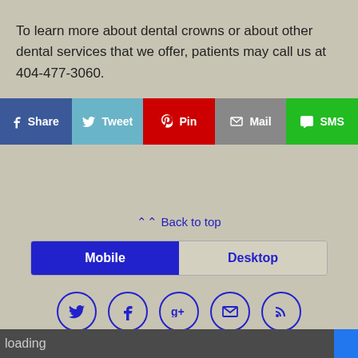To learn more about dental crowns or about other dental services that we offer, patients may call us at 404-477-3060.
[Figure (infographic): Social share buttons row: Facebook Share (dark blue), Tweet (light blue), Pin (red), Mail (gray), SMS (green)]
Back to top
[Figure (infographic): Mobile/Desktop toggle: Mobile button (blue, active), Desktop button (inactive)]
[Figure (infographic): Row of 5 circular social icons: Twitter, Facebook, Google+, Mail, RSS — outlined in blue]
loading